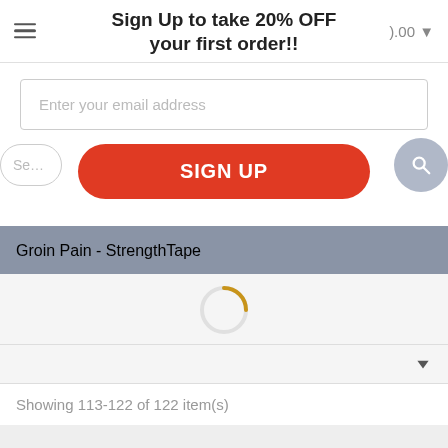Sign Up to take 20% OFF your first order!!
Enter your email address
SIGN UP
Groin Pain - StrengthTape
Showing 113-122 of 122 item(s)